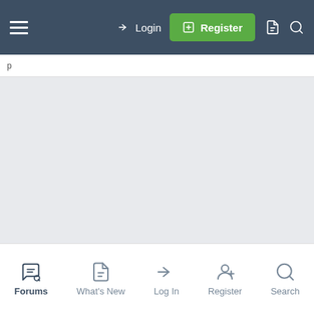Login | Register | (document icon) | (search icon)
[Figure (screenshot): Main content area — empty grey background]
Forums | What's New | Log In | Register | Search